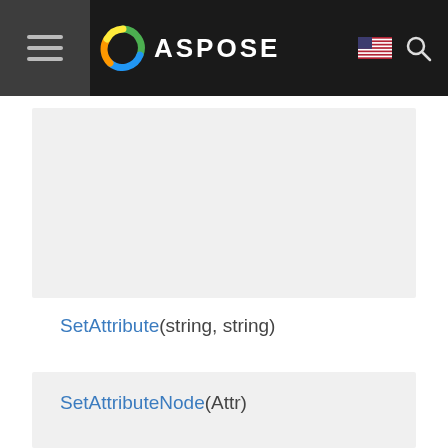ASPOSE
[Figure (other): Gray content placeholder box]
SetAttribute(string, string)
[Figure (other): Gray content placeholder box]
SetAttributeNode(Attr)